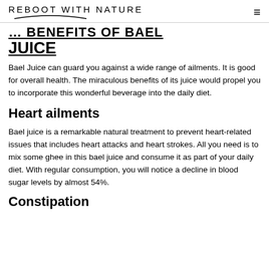REBOOT WITH NATURE
... BENEFITS OF BAEL JUICE
Bael Juice can guard you against a wide range of ailments. It is good for overall health. The miraculous benefits of its juice would propel you to incorporate this wonderful beverage into the daily diet.
Heart ailments
Bael juice is a remarkable natural treatment to prevent heart-related issues that includes heart attacks and heart strokes. All you need is to mix some ghee in this bael juice and consume it as part of your daily diet. With regular consumption, you will notice a decline in blood sugar levels by almost 54%.
Constipation